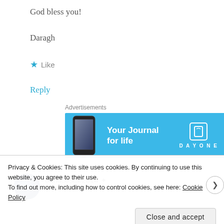God bless you!
Daragh
★ Like
Reply
[Figure (other): Advertisement banner for DayOne app - 'Your Journal for life' on blue background with phone image and book icon logo]
ourlittlestar2014
Privacy & Cookies: This site uses cookies. By continuing to use this website, you agree to their use.
To find out more, including how to control cookies, see here: Cookie Policy
Close and accept